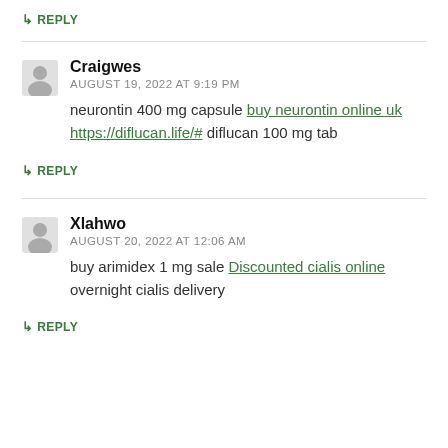↳ REPLY
Craigwes
AUGUST 19, 2022 AT 9:19 PM
neurontin 400 mg capsule buy neurontin online uk https://diflucan.life/# diflucan 100 mg tab
↳ REPLY
Xlahwo
AUGUST 20, 2022 AT 12:06 AM
buy arimidex 1 mg sale Discounted cialis online overnight cialis delivery
↳ REPLY